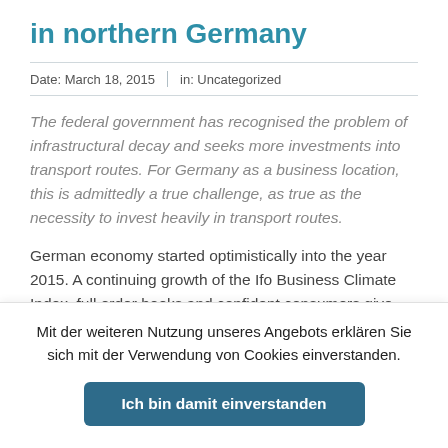in northern Germany
Date: March 18, 2015   in: Uncategorized
The federal government has recognised the problem of infrastructural decay and seeks more investments into transport routes. For Germany as a business location, this is admittedly a true challenge, as true as the necessity to invest heavily in transport routes.
German economy started optimistically into the year 2015. A continuing growth of the Ifo Business Climate Index, full order books and confident consumers give reason for optimism even with regard to Germany's medium-term perspectives economic
Mit der weiteren Nutzung unseres Angebots erklären Sie sich mit der Verwendung von Cookies einverstanden.
Ich bin damit einverstanden